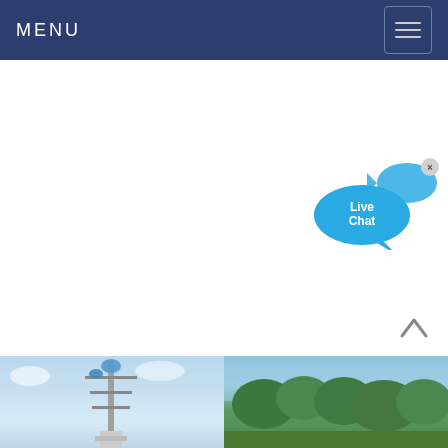MENU
[Figure (screenshot): Live Chat widget with speech bubble icon and close button (x)]
[Figure (photo): Two outdoor photos at bottom: left shows industrial tower/antenna structure against sky, right shows trees/landscape]
[Figure (other): Scroll-up arrow button (chevron up) in lower right area]